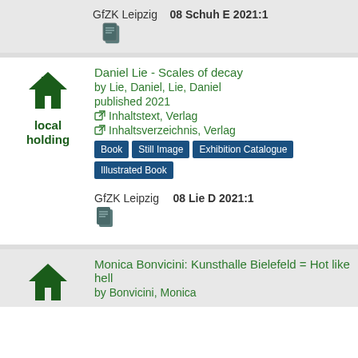GfZK Leipzig   08 Schuh E 2021:1
[Figure (illustration): Copy/document icon in teal/dark color]
[Figure (illustration): Dark green home/house icon]
local holding
Daniel Lie - Scales of decay
by Lie, Daniel, Lie, Daniel
published 2021
↗ Inhaltstext, Verlag
↗ Inhaltsverzeichnis, Verlag
Book  Still Image  Exhibition Catalogue  Illustrated Book
GfZK Leipzig   08 Lie D 2021:1
[Figure (illustration): Copy/document icon in teal/dark color]
[Figure (illustration): Dark green home/house icon]
Monica Bonvicini: Kunsthalle Bielefeld = Hot like hell
by Bonvicini, Monica